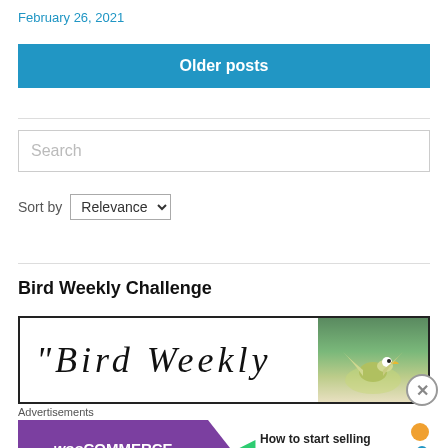February 26, 2021
Older posts
Search
Sort by Relevance
Bird Weekly Challenge
[Figure (photo): Partial image showing stylized text and a bird photo, part of a Bird Weekly Challenge article header]
Advertisements
[Figure (infographic): WooCommerce advertisement banner: How to start selling subscriptions online]